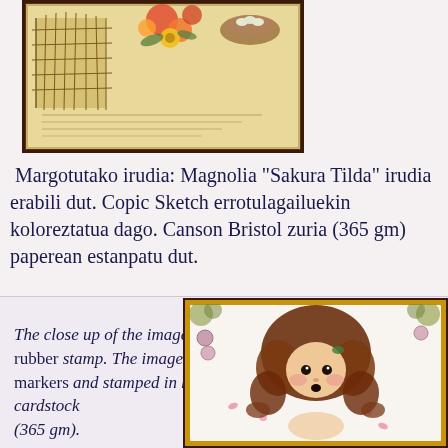[Figure (photo): Close-up photo of a decorative craft card featuring flowers, a birdcage, and a bird nest with eggs, framed in brown.]
Margotutako irudia: Magnolia "Sakura Tilda" irudia erabili dut. Copic Sketch errotulagailuekin koloreztatua dago. Canson Bristol zuria (365 gm) paperean estanpatu dut.
The close up of the image, Magnolia "Sakura Tilda" rubber stamp. The image is colored with Copic Sketch markers and stamped in heavy White Canson Bristol cardstock (365 gm).
[Figure (photo): Close-up photo of a Magnolia Sakura Tilda rubber stamp image colored with Copic Sketch markers, showing a cute girl with curly brown hair, pink cheeks, and decorative elements, framed in gold/brown.]